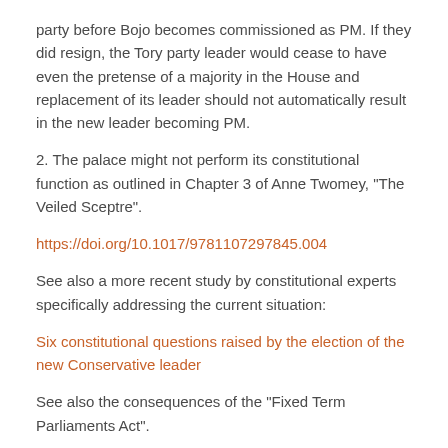party before Bojo becomes commissioned as PM. If they did resign, the Tory party leader would cease to have even the pretense of a majority in the House and replacement of its leader should not automatically result in the new leader becoming PM.
2. The palace might not perform its constitutional function as outlined in Chapter 3 of Anne Twomey, "The Veiled Sceptre".
https://doi.org/10.1017/9781107297845.004
See also a more recent study by constitutional experts specifically addressing the current situation:
Six constitutional questions raised by the election of the new Conservative leader
See also the consequences of the "Fixed Term Parliaments Act".
Click to access 1813.pdf